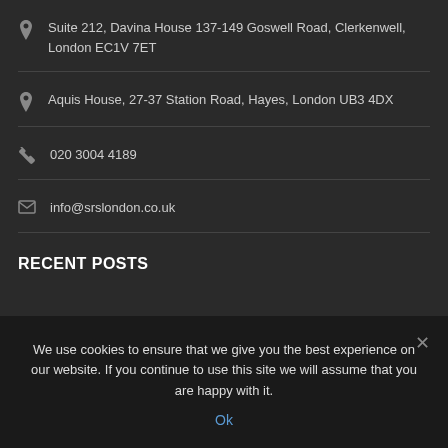Suite 212, Davina House 137-149 Goswell Road, Clerkenwell, London EC1V 7ET
Aquis House, 27-37 Station Road, Hayes, London UB3 4DX
020 3004 4189
info@srslondon.co.uk
RECENT POSTS
We use cookies to ensure that we give you the best experience on our website. If you continue to use this site we will assume that you are happy with it.
Ok